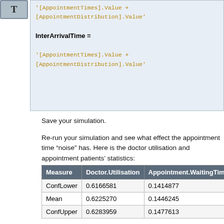[Figure (screenshot): Code box showing InterArrivalTime assignment with '[AppointmentTimes].Value + [AppointmentDistribution].Value' and prior line '[AppointmentDistribution].Value']
Save your simulation.
Re-run your simulation and see what effect the appointment time "noise" has. Here is the doctor utilisation and appointment patients' statistics:
| Measure | Doctor.Utilisation | Appointment.WaitingTime | App... |
| --- | --- | --- | --- |
| ConfLower | 0.6166581 | 0.1414877 | 0.4... |
| Mean | 0.6225270 | 0.1446245 | 0.4... |
| ConfUpper | 0.6283959 | 0.1477613 | 0.4... |
Finally, we add some non-stationarity to the arrival rate of the walk-up patients. Add a TimeSeries object call WalkupRates to define the changing arrival rates of walk-up patients. Suppose we want an arrival process with exponentially distributed interarrival times with mean 1 hour between midnight and 8